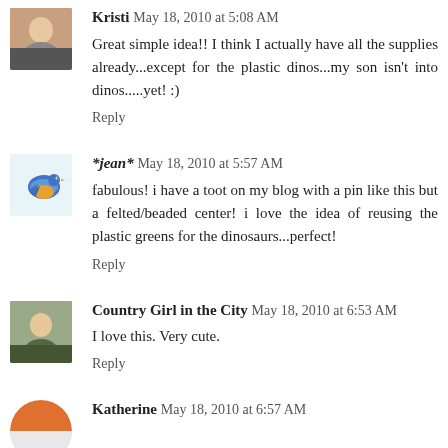[Figure (photo): Avatar photo of Kristi, a woman]
Kristi May 18, 2010 at 5:08 AM
Great simple idea!! I think I actually have all the supplies already...except for the plastic dinos...my son isn't into dinos.....yet! :)
Reply
[Figure (illustration): Avatar illustration of a bluebird]
*jean* May 18, 2010 at 5:57 AM
fabulous! i have a toot on my blog with a pin like this but a felted/beaded center! i love the idea of reusing the plastic greens for the dinosaurs...perfect!
Reply
[Figure (photo): Avatar photo of Country Girl in the City, a baby]
Country Girl in the City May 18, 2010 at 6:53 AM
I love this. Very cute.
Reply
[Figure (illustration): Avatar partial circle icon for Katherine]
Katherine May 18, 2010 at 6:57 AM